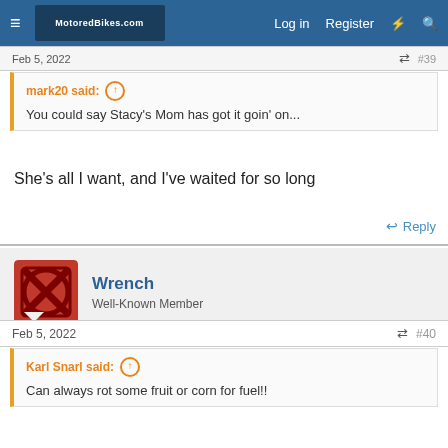MotoredBikes.com — Log in  Register
Feb 5, 2022  #39
mark20 said: You could say Stacy's Mom has got it goin' on...
She's all I want, and I've waited for so long
Reply
Wrench  Well-Known Member
Feb 5, 2022  #40
Karl Snarl said: Can always rot some fruit or corn for fuel!!